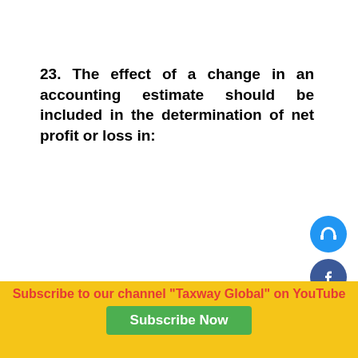23. The effect of a change in an accounting estimate should be included in the determination of net profit or loss in:
[Figure (infographic): Vertical stack of social media / contact icons on the right side: headphones (blue), Facebook (dark blue), Twitter (light blue), WhatsApp (green), chat bubble (red), chat bubble (red)]
Subscribe to our channel "Taxway Global" on YouTube
Subscribe Now